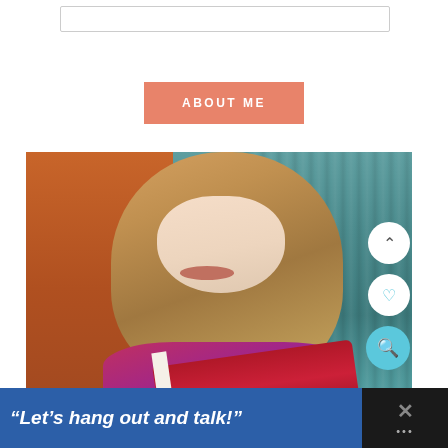[Figure (screenshot): Top search bar area at top of page]
ABOUT ME
[Figure (photo): Young woman with long blonde/brown hair smiling and reading a red book, standing against a teal painted wood door and orange wall background. Social media UI buttons (up arrow, heart, search) visible on the right side.]
“Let’s hang out and talk!”